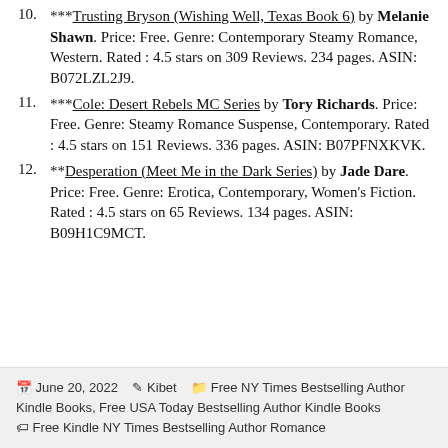10. ***Trusting Bryson (Wishing Well, Texas Book 6) by Melanie Shawn. Price: Free. Genre: Contemporary Steamy Romance, Western. Rated : 4.5 stars on 309 Reviews. 234 pages. ASIN: B072LZL2J9.
11. ***Cole: Desert Rebels MC Series by Tory Richards. Price: Free. Genre: Steamy Romance Suspense, Contemporary. Rated : 4.5 stars on 151 Reviews. 336 pages. ASIN: B07PFNXKVK.
12. **Desperation (Meet Me in the Dark Series) by Jade Dare. Price: Free. Genre: Erotica, Contemporary, Women's Fiction. Rated : 4.5 stars on 65 Reviews. 134 pages. ASIN: B09H1C9MCT.
June 20, 2022  Kibet  Free NY Times Bestselling Author Kindle Books, Free USA Today Bestselling Author Kindle Books  Free Kindle NY Times Bestselling Author Romance